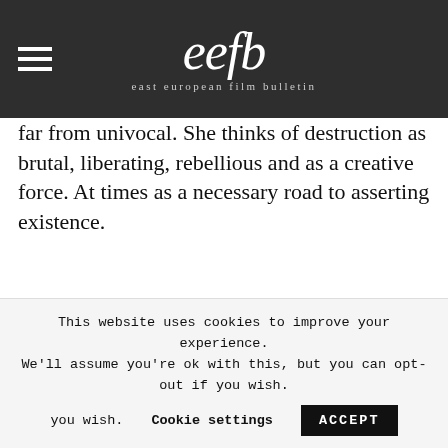eefb — east european film bulletin
far from univocal. She thinks of destruction as brutal, liberating, rebellious and as a creative force. At times as a necessary road to asserting existence.
Tout ceci vaut dans la mesure où il existe une possibilité d'expliquer la destruction
This website uses cookies to improve your experience. We'll assume you're ok with this, but you can opt-out if you wish.
Cookie settings    ACCEPT